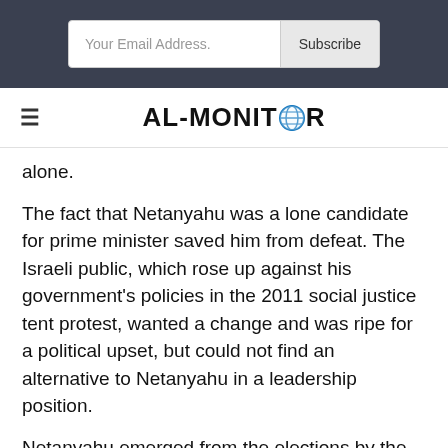[Figure (screenshot): Email subscription bar with text input 'Your Email Address.' and a 'Subscribe' button on a dark background]
AL-MONITOR (logo with globe icon)
alone.
The fact that Netanyahu was a lone candidate for prime minister saved him from defeat. The Israeli public, which rose up against his government's policies in the 2011 social justice tent protest, wanted a change and was ripe for a political upset, but could not find an alternative to Netanyahu in a leadership position.
Netanyahu emerged from the elections by the